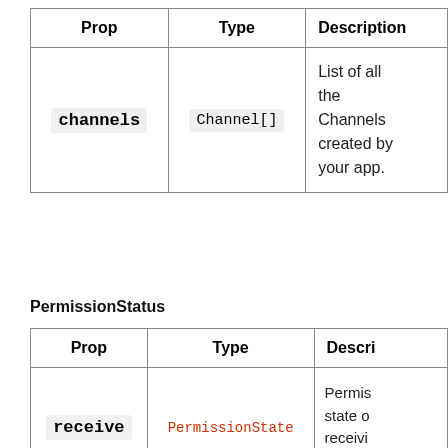| Prop | Type | Description |
| --- | --- | --- |
| channels | Channel[] | List of all the Channels created by your app. |
PermissionStatus
| Prop | Type | Descri |
| --- | --- | --- |
| receive | PermissionState | Permis state o receivi notific |